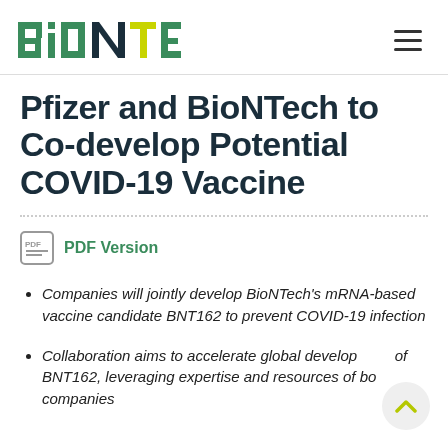BioNTech
Pfizer and BioNTech to Co-develop Potential COVID-19 Vaccine
PDF Version
Companies will jointly develop BioNTech's mRNA-based vaccine candidate BNT162 to prevent COVID-19 infection
Collaboration aims to accelerate global development of BNT162, leveraging expertise and resources of both companies